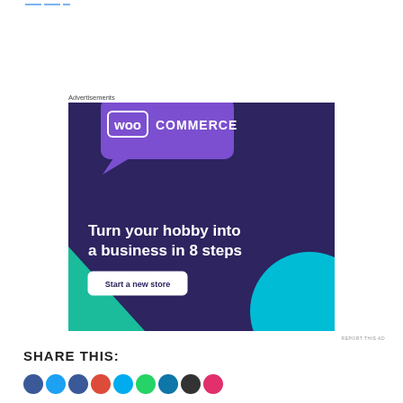—
Advertisements
[Figure (illustration): WooCommerce advertisement banner with dark purple background. Shows WooCommerce logo (speech bubble with 'Woo' and 'COMMERCE' text), teal triangle bottom-left, cyan circle bottom-right, headline 'Turn your hobby into a business in 8 steps', and white CTA button 'Start a new store'.]
REPORT THIS AD
SHARE THIS:
[Figure (illustration): Row of social media share icon circles in various colors (blue, teal, dark blue, red, light blue, green, teal, dark, pink)]